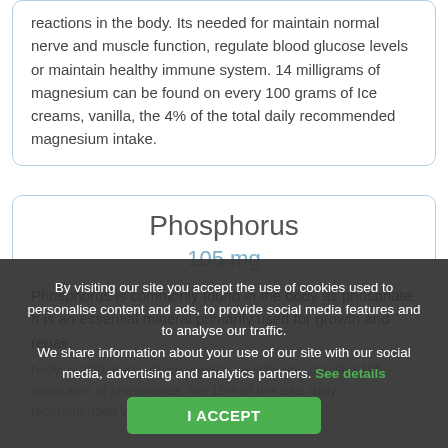reactions in the body. Its needed for maintain normal nerve and muscle function, regulate blood glucose levels or maintain healthy immune system. 14 milligrams of magnesium can be found on every 100 grams of Ice creams, vanilla, the 4% of the total daily recommended magnesium intake.
Phosphorus
105 mg
Phosphorus is commonly found in the body as phosphate. It is an essential mineral primarily used for growth and repair.
body. In 100 grams of Ice creams, vanilla, you can find 105 milligrams of phosphorus, the 15% of the total daily recommended value for that mineral.
By visiting our site you accept the use of cookies used to personalise content and ads, to provide social media features and to analyse our traffic. We share information about your use of our site with our social media, advertising and analytics partners. See details
I ACCEPT